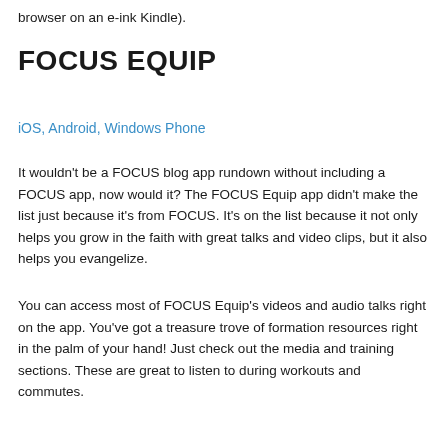browser on an e-ink Kindle).
FOCUS EQUIP
iOS, Android, Windows Phone
It wouldn't be a FOCUS blog app rundown without including a FOCUS app, now would it? The FOCUS Equip app didn't make the list just because it's from FOCUS. It's on the list because it not only helps you grow in the faith with great talks and video clips, but it also helps you evangelize.
You can access most of FOCUS Equip's videos and audio talks right on the app. You've got a treasure trove of formation resources right in the palm of your hand! Just check out the media and training sections. These are great to listen to during workouts and commutes.